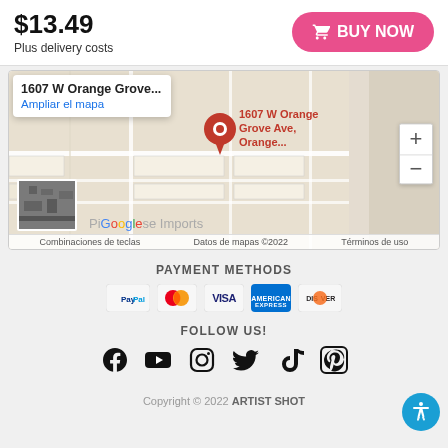$13.49
Plus delivery costs
BUY NOW
[Figure (map): Google Maps screenshot showing location at 1607 W Orange Grove Ave, Orange. Map popup shows address and 'Ampliar el mapa' link. Red location pin visible. Map attribution shows 'Datos de mapas ©2022', 'Combinaciones de teclas', 'Términos de uso'. Satellite thumbnail in bottom-left. Plus and minus zoom controls on right.]
PAYMENT METHODS
[Figure (infographic): Payment method icons: PayPal, Mastercard, Visa, American Express, Discover]
FOLLOW US!
[Figure (infographic): Social media icons: Facebook, YouTube, Instagram, Twitter, TikTok, Pinterest]
Copyright © 2022 ARTIST SHOT